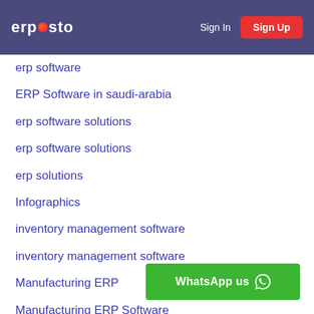ERPOSTO | Sign In | Sign Up
erp software
ERP Software in saudi-arabia
erp software solutions
erp software solutions
erp solutions
Infographics
inventory management software
inventory management software
Manufacturing ERP
Manufacturing ERP Software
Manufacturing ERP Software in saudi-arabia
microfinance ERP
microfinance ERP